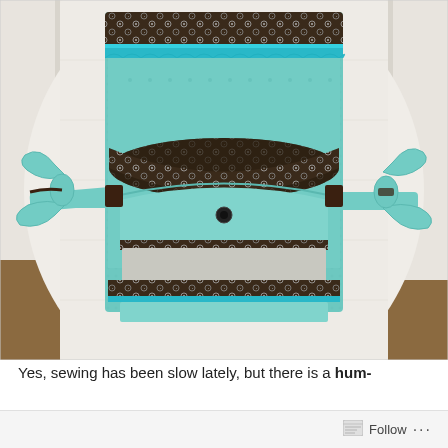[Figure (photo): A handmade tote bag in teal/mint and dark brown fabric with white floral print, shown open and draped over a white chair. The bag features teal waffle-texture fabric, brown floral accent strips, mint green handles tied in bows on the sides, multiple interior pockets, and a snap closure visible inside.]
Yes, sewing has been slow lately, but there is a hum-
Follow ...